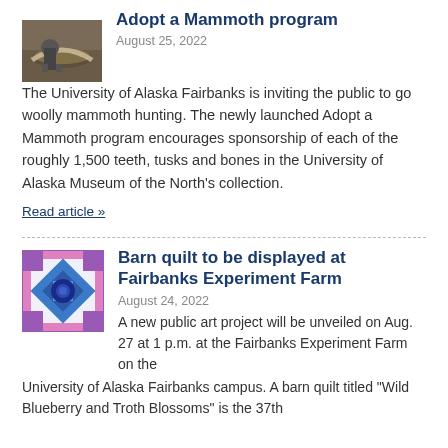[Figure (photo): Photo of a person crouching next to a large curved mammoth tusk or bone]
Adopt a Mammoth program
August 25, 2022
The University of Alaska Fairbanks is inviting the public to go woolly mammoth hunting. The newly launched Adopt a Mammoth program encourages sponsorship of each of the roughly 1,500 teeth, tusks and bones in the University of Alaska Museum of the North's collection.
Read article »
[Figure (illustration): Colorful geometric barn quilt pattern with blue, purple, and white star/diamond design]
Barn quilt to be displayed at Fairbanks Experiment Farm
August 24, 2022
A new public art project will be unveiled on Aug. 27 at 1 p.m. at the Fairbanks Experiment Farm on the University of Alaska Fairbanks campus. A barn quilt titled "Wild Blueberry and Troth Blossoms" is the 37th